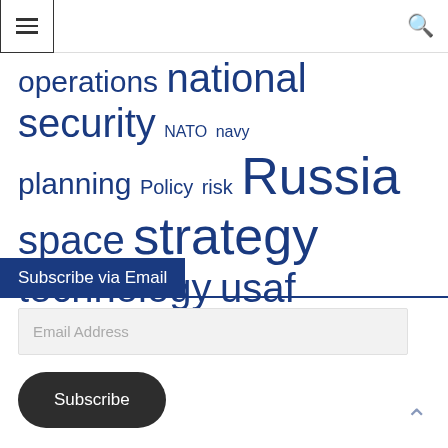menu / search header
operations national security NATO navy planning Policy risk Russia space strategy technology usaf
Subscribe via Email
Email Address
Subscribe